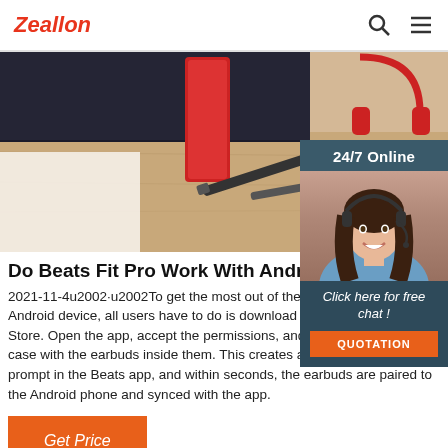Zeallon
[Figure (photo): Hero image showing a desk with a tablet/speaker device, a red device, headphones, and a pen on a wooden surface]
[Figure (photo): 24/7 Online chat widget sidebar showing a woman with headset smiling, with 'Click here for free chat!' text and an orange QUOTATION button]
Do Beats Fit Pro Work With Android? What Y
2021-11-4u2002·u2002To get the most out of the Beats Fit Pro on an Android device, all users have to do is download the app from the Play Store. Open the app, accept the permissions, and then open the Fit Pro case with the earbuds inside them. This creates an automatic pairing prompt in the Beats app, and within seconds, the earbuds are paired to the Android phone and synced with the app.
Get Price